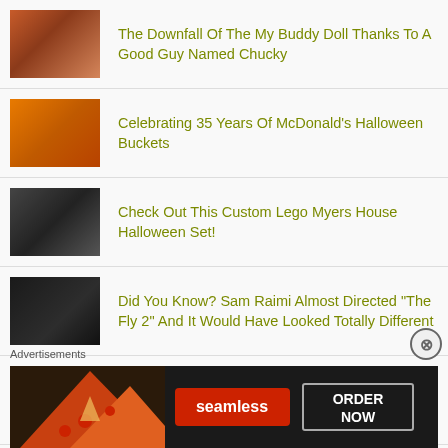The Downfall Of The My Buddy Doll Thanks To A Good Guy Named Chucky
Celebrating 35 Years Of McDonald's Halloween Buckets
Check Out This Custom Lego Myers House Halloween Set!
Did You Know? Sam Raimi Almost Directed "The Fly 2" And It Would Have Looked Totally Different
The Deleted Scene From "Poltergeist" That Almost Gave it An "R" Rating
That Deleted Scene From "The Fly" That Made Audiences Vomit
Advertisements
[Figure (screenshot): Seamless food delivery advertisement banner with pizza image, red Seamless logo button, and ORDER NOW button on dark background]